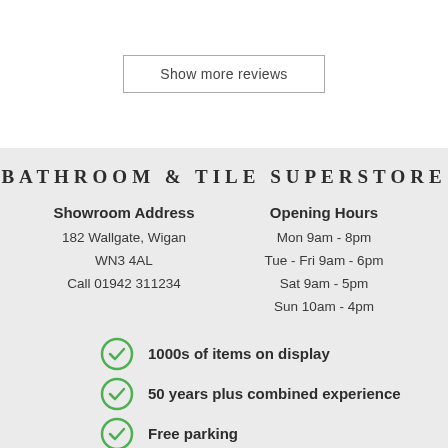Show more reviews
BATHROOM & TILE SUPERSTORE
Showroom Address
182 Wallgate, Wigan
WN3 4AL
Call 01942 311234
Opening Hours
Mon 9am - 8pm
Tue - Fri 9am - 6pm
Sat 9am - 5pm
Sun 10am - 4pm
1000s of items on display
50 years plus combined experience
Free parking